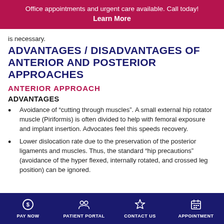Office appointments and urgent care available. Call today! Learn More
is necessary.
ADVANTAGES / DISADVANTAGES OF ANTERIOR AND POSTERIOR APPROACHES
ANTERIOR APPROACH
ADVANTAGES
Avoidance of “cutting through muscles”. A small external hip rotator muscle (Piriformis) is often divided to help with femoral exposure and implant insertion. Advocates feel this speeds recovery.
Lower dislocation rate due to the preservation of the posterior ligaments and muscles. Thus, the standard “hip precautions” (avoidance of the hyper flexed, internally rotated, and crossed leg position) can be ignored.
PAY NOW  PATIENT PORTAL  CONTACT US  APPOINTMENT